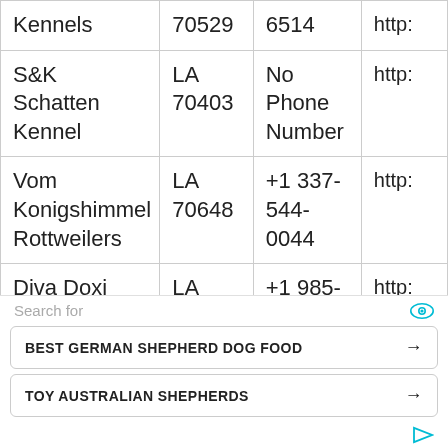| Name | State/ZIP | Phone | URL |
| --- | --- | --- | --- |
| Kennels | 70529 | 6514 | http: |
| S&K Schatten Kennel | LA 70403 | No Phone Number | http: |
| Vom Konigshimmel Rottweilers | LA 70648 | +1 337-544-0044 | http: |
| Diva Doxi | LA 70769 | +1 985-351-1017 | http: |
Search for
BEST GERMAN SHEPHERD DOG FOOD
TOY AUSTRALIAN SHEPHERDS